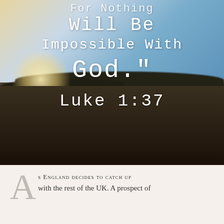[Figure (photo): Landscape photograph of a field at sunrise or sunset with a bright glowing sky, treeline silhouette, and dark ground. White handwritten-style text overlaid reading: 'FOR NOTHING WILL BE IMPOSSIBLE WITH GOD.' Luke 1:37]
As England decides to catch up with the rest of the UK. A prospect of